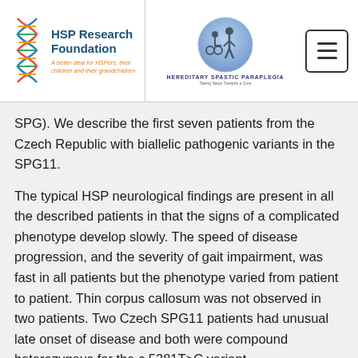HSP Research Foundation — Hereditary Spastic Paraplegia — A better deal for HSPers, their children and their grandchildren — Taking Steps Towards a Cure
SPG). We describe the first seven patients from the Czech Republic with biallelic pathogenic variants in the SPG11.
The typical HSP neurological findings are present in all the described patients in that the signs of a complicated phenotype develop slowly. The speed of disease progression, and the severity of gait impairment, was fast in all patients but the phenotype varied from patient to patient. Thin corpus callosum was not observed in two patients. Two Czech SPG11 patients had unusual late onset of disease and both were compound heterozygous for the c.5381T>C variant.
The...